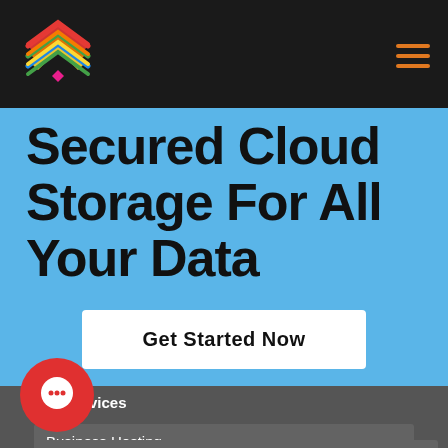[Figure (logo): Colorful layered chevron/arrow logo in rainbow gradient colors with a pink diamond at bottom, on dark background]
[Figure (other): Orange hamburger menu icon (three horizontal lines) in top right corner]
Secured Cloud Storage For All Your Data
Get Started Now
Our Services
Business Hosting
S VPS
Dedicated Servers
[Figure (other): Red circular chat/message bubble button in bottom left corner]